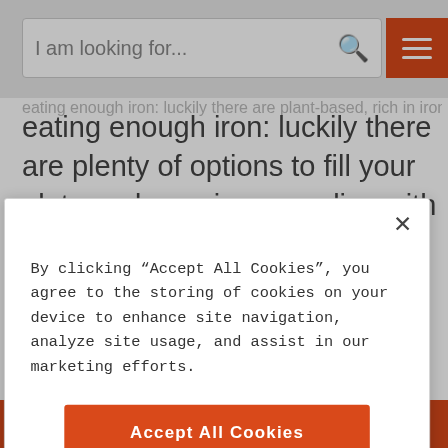[Figure (screenshot): Search bar with placeholder text 'I am looking for...' and a search icon, next to an orange hamburger menu button]
eating enough iron: luckily there are plenty of options to fill your plate and your iron supplies with plant-based foods. Nuts and seeds, beans, legumes and even herbs and spices provide ample amounts of this
By clicking “Accept All Cookies”, you agree to the storing of cookies on your device to enhance site navigation, analyze site usage, and assist in our marketing efforts.
Accept All Cookies
Cookies Settings